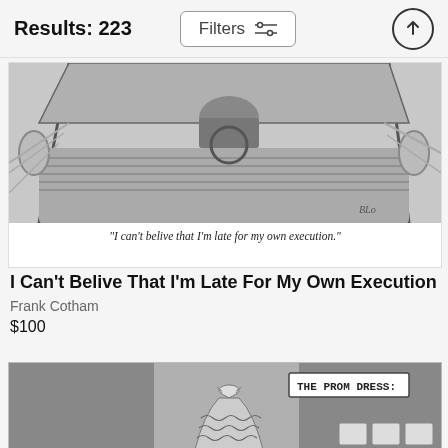Results: 223   Filters
[Figure (illustration): New Yorker style cartoon showing a car interior from above, with driver stuck in traffic. Caption reads: "I can't belive that I'm late for my own execution."]
I Can't Belive That I'm Late For My Own Execution
Frank Cotham
$100
[Figure (illustration): New Yorker style cartoon partially visible, showing 'THE PROM DRESS:' label with a dress figure below it.]